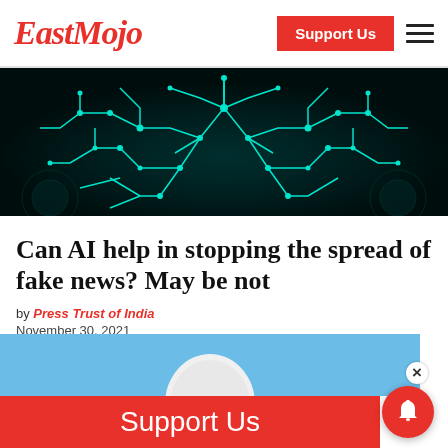EastMojo | Support Us
[Figure (illustration): Dark teal circuit board / digital network background image with glowing teal lines and nodes arranged in a symmetric pattern]
Can AI help in stopping the spread of fake news? May be not
by Press Trust of India
November 30, 2021
[Figure (photo): Partial photo of a white object against blue sky background]
Support Us